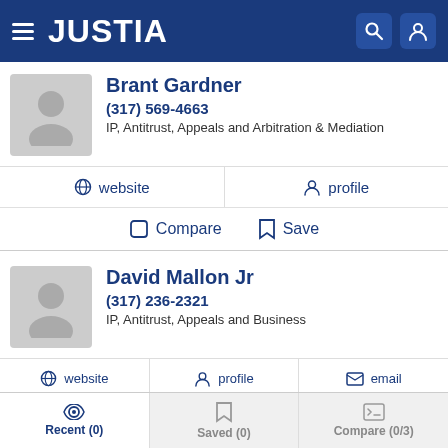JUSTIA
Brant Gardner
(317) 569-4663
IP, Antitrust, Appeals and Arbitration & Mediation
website  profile  Compare  Save
David Mallon Jr
(317) 236-2321
IP, Antitrust, Appeals and Business
website  profile  email  Compare  Save
Recent (0)  Saved (0)  Compare (0/3)